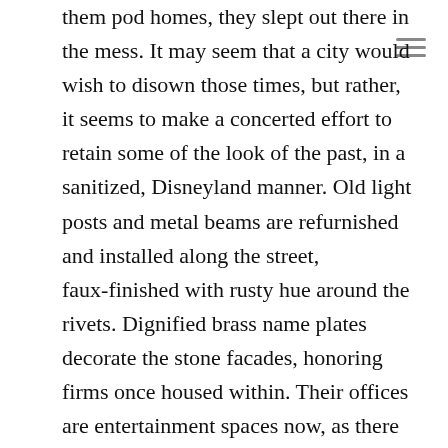them pod homes, they slept out there in the mess. It may seem that a city would wish to disown those times, but rather, it seems to make a concerted effort to retain some of the look of the past, in a sanitized, Disneyland manner. Old light posts and metal beams are refurnished and installed along the street, faux-finished with rusty hue around the rivets. Dignified brass name plates decorate the stone facades, honoring firms once housed within. Their offices are entertainment spaces now, as there is no longer any reason for most workers to labor outside of their homes. The parade once visible several times a day here is diminished to a meandering gathering, without haste mostly, of gawkers. It is clean enough now on Madison to wear your best clothes and saunter about all day, like an Astaire